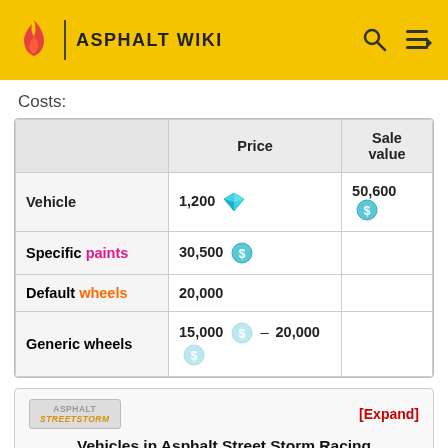ASPHALT WIKI
Costs:
|  | Price | Sale value |
| --- | --- | --- |
| Vehicle | 1,200 💎 | 50,600 $ |
| Specific paints | 30,500 $ |  |
| Default wheels | 20,000 |  |
| Generic wheels | 15,000 $ – 20,000 $ |  |
[Figure (logo): Asphalt Street Storm logo]
[Expand]
Vehicles in Asphalt Street Storm Racing